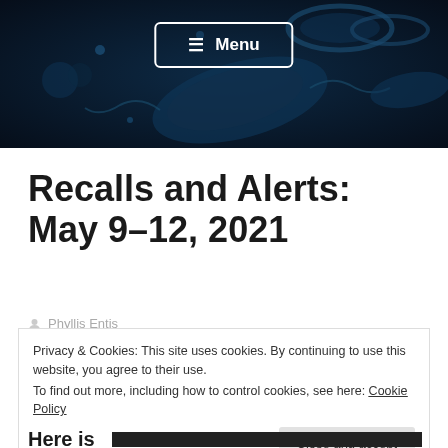[Figure (photo): Dark blue microscopic bacteria/microorganism background image with a Menu navigation button overlay]
Recalls and Alerts: May 9–12, 2021
Phyllis Entis
Privacy & Cookies: This site uses cookies. By continuing to use this website, you agree to their use.
To find out more, including how to control cookies, see here: Cookie Policy
Close and accept
Here is